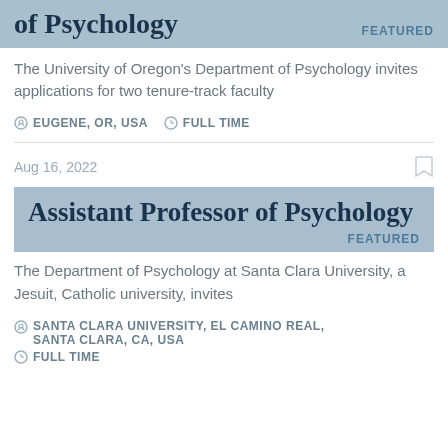of Psychology — FEATURED
The University of Oregon's Department of Psychology invites applications for two tenure-track faculty
EUGENE, OR, USA   FULL TIME
Aug 16, 2022
Assistant Professor of Psychology — FEATURED
The Department of Psychology at Santa Clara University, a Jesuit, Catholic university, invites
SANTA CLARA UNIVERSITY, EL CAMINO REAL, SANTA CLARA, CA, USA   FULL TIME